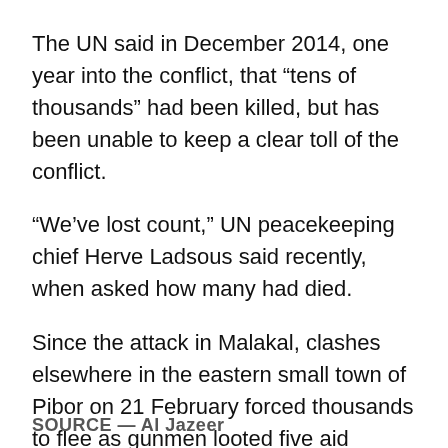The UN said in December 2014, one year into the conflict, that “tens of thousands” had been killed, but has been unable to keep a clear toll of the conflict.
“We’ve lost count,” UN peacekeeping chief Herve Ladsous said recently, when asked how many had died.
Since the attack in Malakal, clashes elsewhere in the eastern small town of Pibor on 21 February forced thousands to flee as gunmen looted five aid agency bases, including an MSF clinic.
After winning independence from Sudan in 2011, South Sudan erupted into civil war in December 2013, setting off a cycle of retaliatory killings that have split the poverty-stricken, landlocked country along ethnic lines.
SOURCE — Al Jazeera